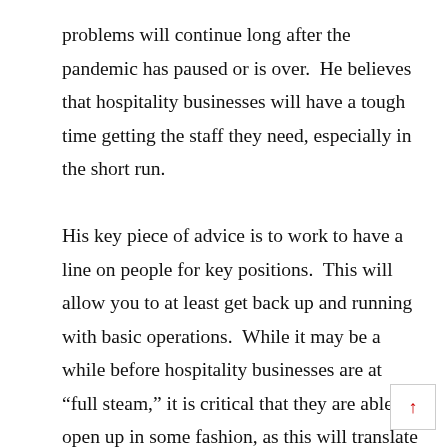problems will continue long after the pandemic has paused or is over.  He believes that hospitality businesses will have a tough time getting the staff they need, especially in the short run.

His key piece of advice is to work to have a line on people for key positions.  This will allow you to at least get back up and running with basic operations.  While it may be a while before hospitality businesses are at “full steam,” it is critical that they are able to open up in some fashion, as this will translate into much needed revenue.  Hospitality businesses looking to survive the pandemic should focus on making certain that key positions have been filled.  In this way, the